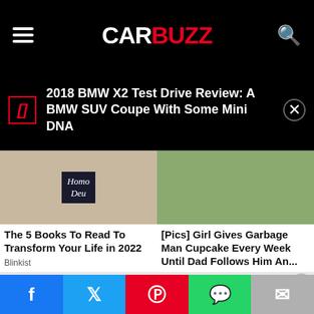CARBUZZ
2018 BMW X2 Test Drive Review: A BMW SUV Coupe With Some Mini DNA
[Figure (photo): Person holding a book titled 'Homo Deu' in front of their face]
[Figure (photo): Man with beard and a smiling child outdoors]
The 5 Books To Read To Transform Your Life in 2022
Blinkist
[Pics] Girl Gives Garbage Man Cupcake Every Week Until Dad Follows Him An...
HealthyGem
[Figure (advertisement): Cat Game advertisement with cartoon cats and PLAY NOW button]
Social sharing bar: Facebook, Twitter, Pinterest, WhatsApp, Email